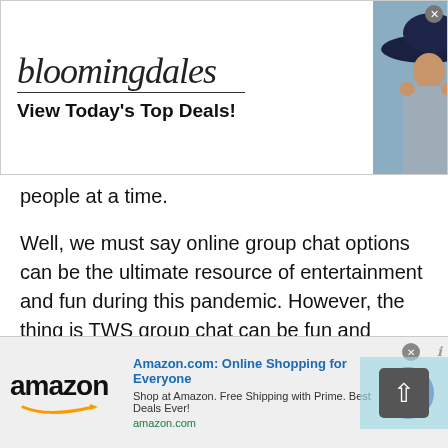[Figure (screenshot): Bloomingdales advertisement banner with logo, 'View Today's Top Deals!' tagline, woman in hat photo, and 'SHOP NOW >' button]
people at a time.
Well, we must say online group chat options can be the ultimate resource of entertainment and fun during this pandemic. However, the thing is TWS group chat can be fun and irritating at the same time. It's all up to you how you can manage things. For instance, if you don't like any of the participants in a group chat then you can simply leave a chat. Yes, you will never be bound to talk to someone you don't
[Figure (screenshot): Amazon advertisement banner with Amazon logo, 'Amazon.com: Online Shopping for Everyone' title, 'Shop at Amazon. Free Shipping with Prime. Best Deals Ever!' description, amazon.com URL, and blue circular arrow button]